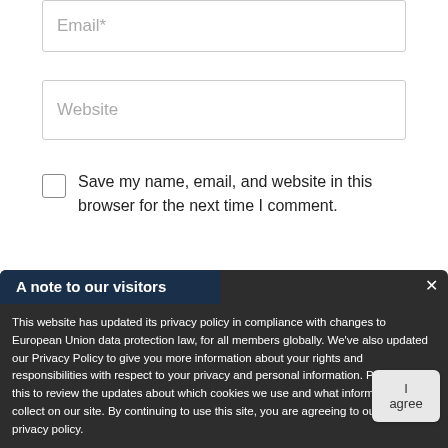Email*
Website
Save my name, email, and website in this browser for the next time I comment.
A note to our visitors
This website has updated its privacy policy in compliance with changes to European Union data protection law, for all members globally. We've also updated our Privacy Policy to give you more information about your rights and responsibilities with respect to your privacy and personal information. Please read this to review the updates about which cookies we use and what information we collect on our site. By continuing to use this site, you are agreeing to our updated privacy policy.